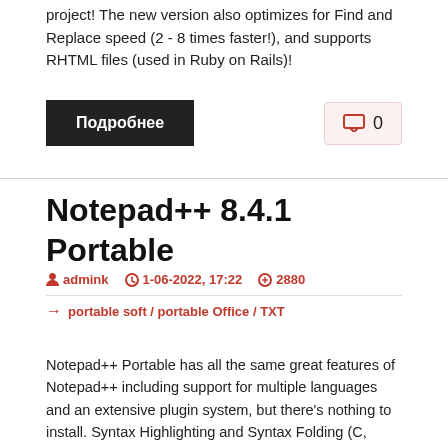project! The new version also optimizes for Find and Replace speed (2 - 8 times faster!), and supports RHTML files (used in Ruby on Rails)!
Подробнее
Notepad++ 8.4.1 Portable
admink   1-06-2022, 17:22   2880
portable soft / portable Office / TXT
Notepad++ Portable has all the same great features of Notepad++ including support for multiple languages and an extensive plugin system, but there's nothing to install. Syntax Highlighting and Syntax Folding (C, C++, HTML, ASP, Java, Pascal, CSS and more). User Defined Syntax Highlighting. Regular Expression Search/Replace supported. Multi-Language environment supported.